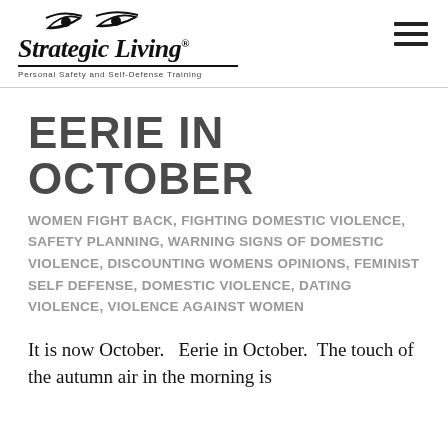[Figure (logo): Strategic Living logo with stylized eyes, cursive text 'Strategic Living®', decorative underline, and tagline 'Personal Safety and Self-Defense Training']
EERIE IN OCTOBER
WOMEN FIGHT BACK, FIGHTING DOMESTIC VIOLENCE, SAFETY PLANNING, WARNING SIGNS OF DOMESTIC VIOLENCE, DISCOUNTING WOMENS OPINIONS, FEMINIST SELF DEFENSE, DOMESTIC VIOLENCE, DATING VIOLENCE, VIOLENCE AGAINST WOMEN
It is now October.   Eerie in October.  The touch of the autumn air in the morning is